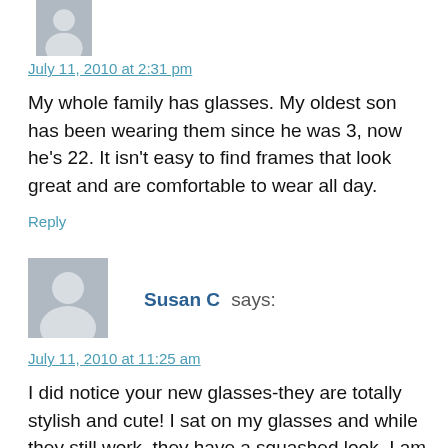[Figure (illustration): Gray placeholder avatar icon (person silhouette), partially cropped at top]
July 11, 2010 at 2:31 pm
My whole family has glasses. My oldest son has been wearing them since he was 3, now he's 22. It isn't easy to find frames that look great and are comfortable to wear all day.
Reply
[Figure (illustration): Gray placeholder avatar icon (person silhouette)]
Susan C says:
July 11, 2010 at 11:25 am
I did notice your new glasses-they are totally stylish and cute! I sat on my glasses and while they still work, they have a squashed look. I am trying to decide what style to get next.